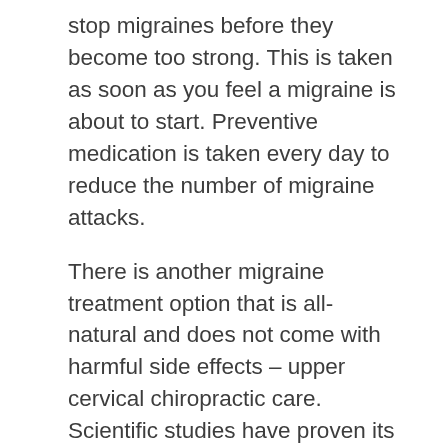stop migraines before they become too strong. This is taken as soon as you feel a migraine is about to start. Preventive medication is taken every day to reduce the number of migraine attacks.
There is another migraine treatment option that is all-natural and does not come with harmful side effects – upper cervical chiropractic care. Scientific studies have proven its effectiveness. In one study, 101 migraine patients were examined and discovered to have a misalignment in the bones of their upper cervical spine. Most of these patients remembered having trauma to their head or neck before the onset of their migraines. They were all